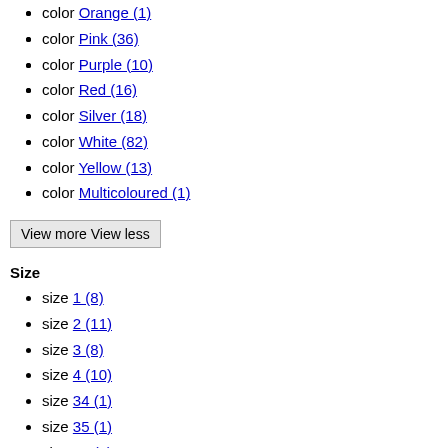color Orange (1)
color Pink (36)
color Purple (10)
color Red (16)
color Silver (18)
color White (82)
color Yellow (13)
color Multicoloured (1)
View more View less
Size
size 1 (8)
size 2 (11)
size 3 (8)
size 4 (10)
size 34 (1)
size 35 (1)
size 36 (1)
size 37 (2)
size 38 (2)
size 39 (3)
size 40 (3)
size 41 (2)